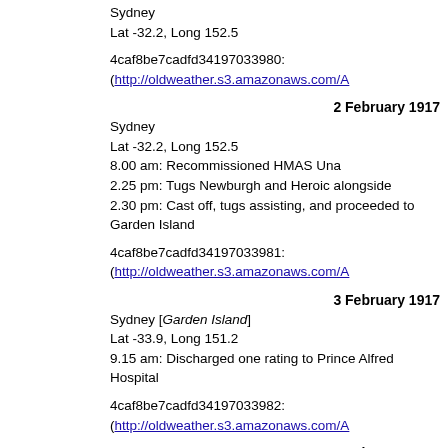Sydney
Lat -32.2, Long 152.5
4caf8be7cadfd34197033980: (http://oldweather.s3.amazonaws.com/A
2 February 1917
Sydney
Lat -32.2, Long 152.5
8.00 am: Recommissioned HMAS Una
2.25 pm: Tugs Newburgh and Heroic alongside
2.30 pm: Cast off, tugs assisting, and proceeded to Garden Island
4caf8be7cadfd34197033981: (http://oldweather.s3.amazonaws.com/A
3 February 1917
Sydney [Garden Island]
Lat -33.9, Long 151.2
9.15 am: Discharged one rating to Prince Alfred Hospital
4caf8be7cadfd34197033982: (http://oldweather.s3.amazonaws.com/A
4 February 1917
Sydney
Lat -33.9, Long 151.2
4caf8be7cadfd34197033983: (http://oldweather.s3.amazonaws.com/A
5 February 1917
Sydney
Lat -33.9, Long 151.2